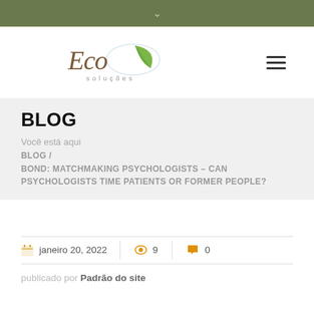∨
[Figure (logo): Eco Soluções logo with stylized italic 'Eco' text in brown and a green leaf graphic, with 'soluções' in small caps below]
BLOG
Você está aqui
BLOG /
BOND: MATCHMAKING PSYCHOLOGISTS – CAN PSYCHOLOGISTS TIME PATIENTS OR FORMER PEOPLE?
janeiro 20, 2022   9   0
publicado por Padrão do site